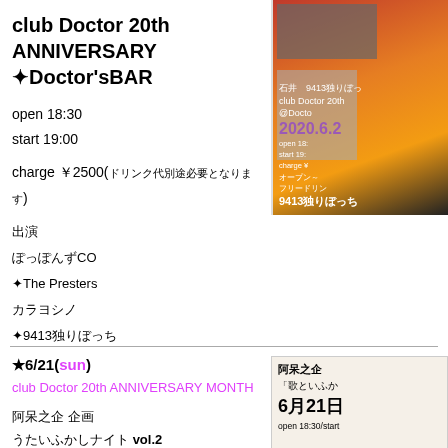club Doctor 20th ANNIVERSARY ✦Doctor'sBAR
open 18:30
start 19:00
charge ￥2500(ドリンク代別途必要となります)
出演
ぽっぽんずCO
✦The Presters
カラヨシノ
✦9413独りぼっち
[Figure (photo): Event poster for club Doctor 20th anniversary Doctor's BAR, orange/red background with band photos, purple date text 2020.6.x]
★6/21(sun)
club Doctor 20th ANNIVERSARY MONTH
阿呆之企 企画
うたいふかしナイト vol.2
open 18:30
start 19:00
[Figure (photo): Event flyer with Japanese text: 阿呆之企 「歌といふか」 6月21日 open 18:30/start]